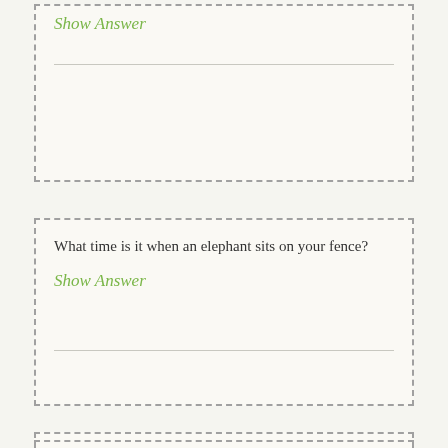Show Answer
What time is it when an elephant sits on your fence?
Show Answer
The more places I be, the less you can see. What am I?
Show Answer